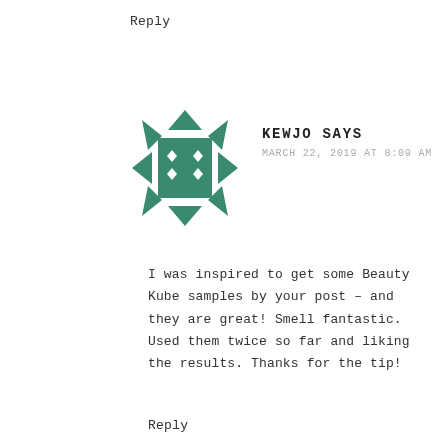Reply
[Figure (illustration): Green geometric avatar icon with triangles and diamond shapes arranged in a square pattern]
KEWJO SAYS
MARCH 22, 2019 AT 8:09 AM
I was inspired to get some Beauty Kube samples by your post – and they are great! Smell fantastic. Used them twice so far and liking the results. Thanks for the tip!
Reply